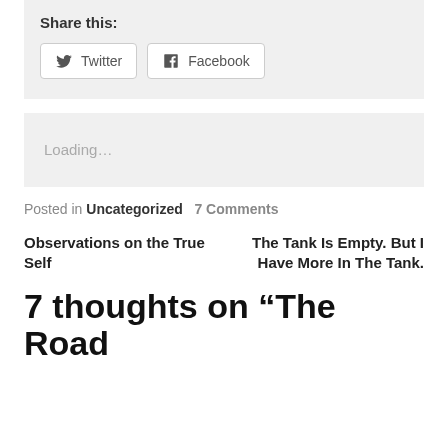Share this:
Twitter   Facebook
Loading...
Posted in Uncategorized   7 Comments
Observations on the True Self
The Tank Is Empty. But I Have More In The Tank.
7 thoughts on “The Road